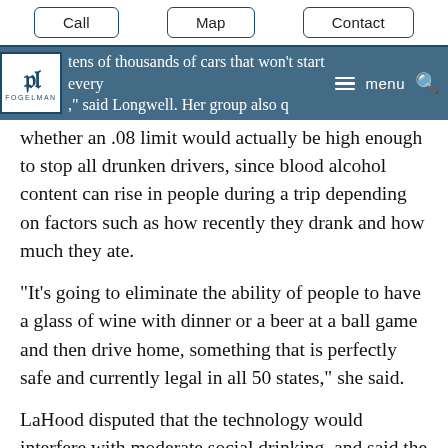Call | Map | Contact
tens of thousands of cars that won’t start every ,” said Longwell. Her group also questions whether an .08 limit would actually be high enough to stop all drunken drivers, since blood alcohol content can rise in people during a trip depending on factors such as how recently they drank and how much they ate.
“It’s going to eliminate the ability of people to have a glass of wine with dinner or a beer at a ball game and then drive home, something that is perfectly safe and currently legal in all 50 states,” she said.
LaHood disputed that the technology would interfere with moderate social drinking, and said the